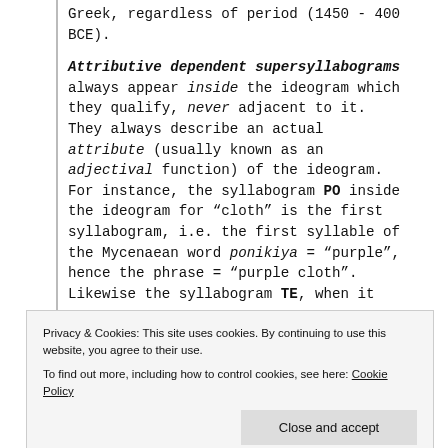Greek, regardless of period (1450 - 400 BCE).
Attributive dependent supersyllabograms always appear inside the ideogram which they qualify, never adjacent to it. They always describe an actual attribute (usually known as an adjectival function) of the ideogram. For instance, the syllabogram PO inside the ideogram for “cloth” is the first syllabogram, i.e. the first syllable of the Mycenaean word ponikiya = “purple”, hence the phrase = “purple cloth”. Likewise the syllabogram TE, when it
Privacy & Cookies: This site uses cookies. By continuing to use this website, you agree to their use.
To find out more, including how to control cookies, see here: Cookie Policy
Close and accept
the ideogram for cloth must mean one